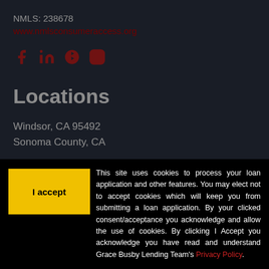NMLS: 238678
www.nmlsconsumeraccess.org
[Figure (other): Social media icons: Facebook, LinkedIn, Yelp, Instagram — all in red/dark red]
Locations
Windsor, CA 95492
Sonoma County, CA
[Figure (other): Blue circle accessibility icon with white person figure]
Brentwood, CA 94513
Contra Costa County, CA
Phone: (925) 460-5380
This site uses cookies to process your loan application and other features. You may elect not to accept cookies which will keep you from submitting a loan application. By your clicked consent/acceptance you acknowledge and allow the use of cookies. By clicking I Accept you acknowledge you have read and understand Grace Busby Lending Team's Privacy Policy.